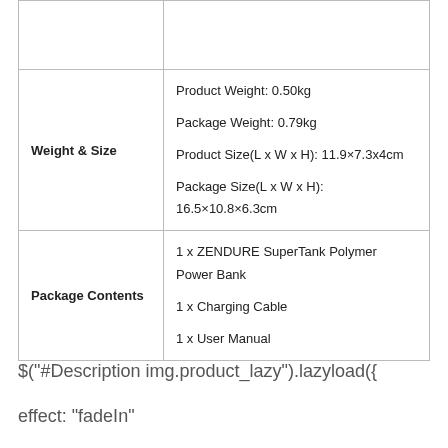|  |  |
| Weight & Size | Product Weight: 0.50kg
Package Weight: 0.79kg
Product Size(L x W x H): 11.9×7.3x4cm
Package Size(L x W x H): 16.5×10.8×6.3cm |
| Package Contents | 1 x ZENDURE SuperTank Polymer Power Bank
1 x Charging Cable
1 x User Manual |
$("#Description img.product_lazy").lazyload({ effect: "fadeIn"